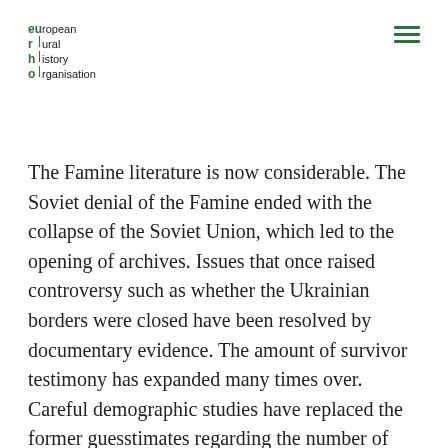european rural history organisation
The Famine literature is now considerable. The Soviet denial of the Famine ended with the collapse of the Soviet Union, which led to the opening of archives. Issues that once raised controversy such as whether the Ukrainian borders were closed have been resolved by documentary evidence. The amount of survivor testimony has expanded many times over. Careful demographic studies have replaced the former guesstimates regarding the number of victims. Yet many issues remain hotly debated such as the relation of the Holodomor to the general Soviet famine, intentionality, and the question of genocide.